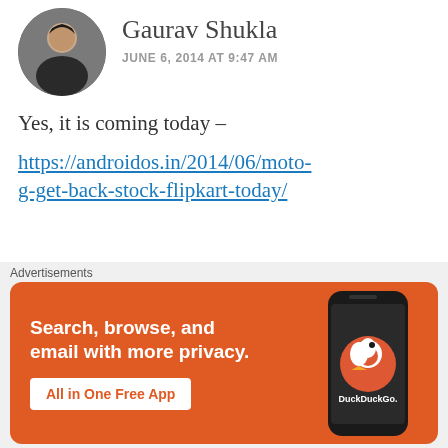[Figure (photo): Circular avatar photo of Gaurav Shukla, a man in a dark shirt]
Gaurav Shukla
JUNE 6, 2014 AT 9:47 AM
Yes, it is coming today –
https://androidos.in/2014/06/moto-g-get-back-stock-flipkart-today/
★ Like
REPLY
[Figure (illustration): Small decorative avatar icon (green diamond pattern) for sid malani]
sid malani
Advertisements
[Figure (screenshot): DuckDuckGo advertisement banner with orange background showing text 'Search, browse, and email with more privacy. All in One Free App' and a phone graphic with DuckDuckGo logo]